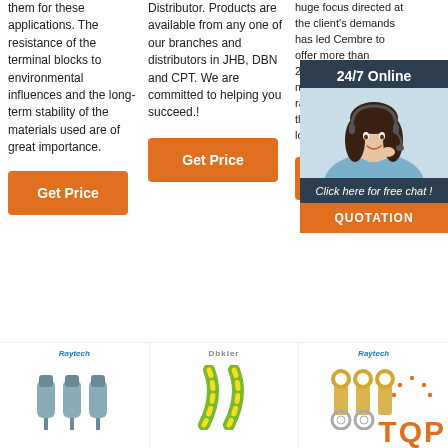them for these applications. The resistance of the terminal blocks to environmental influences and the long-term stability of the materials used are of great importance.
[Figure (other): Orange 'Get Price' button, column 1]
Distributor. Products are available from any one of our branches and distributors in JHB, DBN and CPT. We are committed to helping you succeed.!
[Figure (other): Orange 'Get Price' button, column 2]
huge focus directed at the client's demands has led Cembre to offer more than 22,000 items on the market, ensuring a range able to satisfy the requirements of lots of applications.
[Figure (other): 24/7 Online chat widget with customer service photo and QUOTATION button overlay]
[Figure (other): Orange 'Get' button, column 3]
[Figure (other): Bottom left: Raytech branded product image showing grey cable connectors]
[Figure (other): Bottom center: Dbkler branded product image showing green-yellow heat shrink tubing]
[Figure (other): Bottom right: Raytech branded product image showing ring terminal connectors, with TOP logo (orange house with dots)]